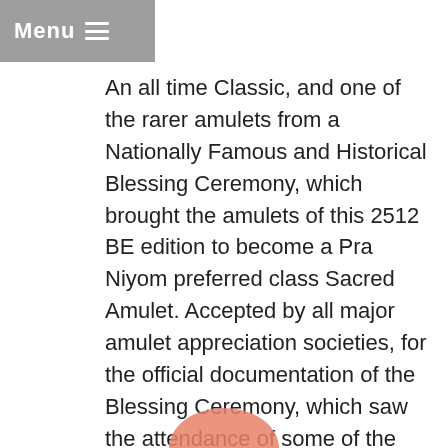Menu ☰
An all time Classic, and one of the rarer amulets from a Nationally Famous and Historical Blessing Ceremony, which brought the amulets of this 2512 BE edition to become a Pra Niyom preferred class Sacred Amulet. Accepted by all major amulet appreciation societies, for the official documentation of the Blessing Ceremony, which saw the attendance of some of the Greatest Master-Monks of the time present to bestow their empowerment and blessing.
[Figure (illustration): Partial circular orange/salmon colored shape visible at bottom center of page, likely top of an amulet or decorative element image]